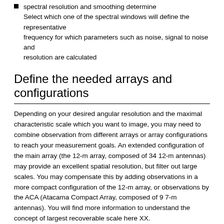Select which one of the spectral windows will define the representative frequency for which parameters such as noise, signal to noise and resolution are calculated
Define the needed arrays and configurations
Depending on your desired angular resolution and the maximal characteristic scale which you want to image, you may need to combine observation from different arrays or array configurations to reach your measurement goals. An extended configuration of the main array (the 12-m array, composed of 34 12-m antennas) may provide an excellent spatial resolution, but filter out large scales. You may compensate this by adding observations in a more compact configuration of the 12-m array, or observations by the ACA (Atacama Compact Array, composed of 9 7-m antennas). You will find more information to understand the concept of largest recoverable scale here XX.
In the tree structure on the left panel in the display, click on the 'Control and Performance' section of a SG
Enter the desired angular resolution and largest angular structure
Click on 'Suggest' to see whether the use of ACA is suggested to reach your goals
Depending on the suggestion, click 'yes' or 'no' on the 'Request...